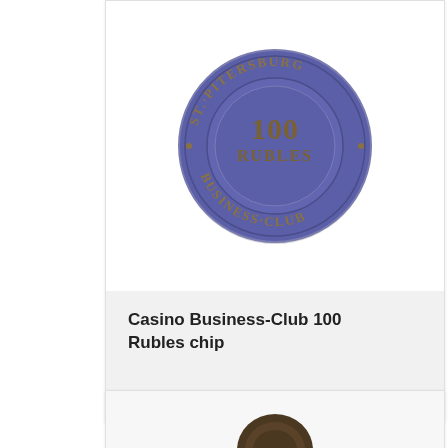[Figure (photo): A blue casino chip from St. Petersburg Business Club showing '100 RUBLES' in the center with ornate lettering around the rim reading 'ST. PITERSBURG BUSINESS CLUB']
Casino Business-Club 100 Rubles chip
[Figure (photo): Partial view of another casino chip at bottom of page, appears dark/bronze colored]